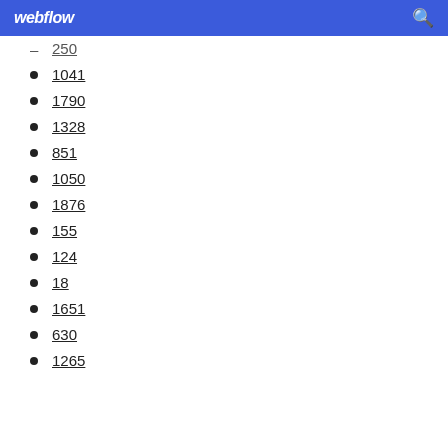webflow
250
1041
1790
1328
851
1050
1876
155
124
18
1651
630
1265